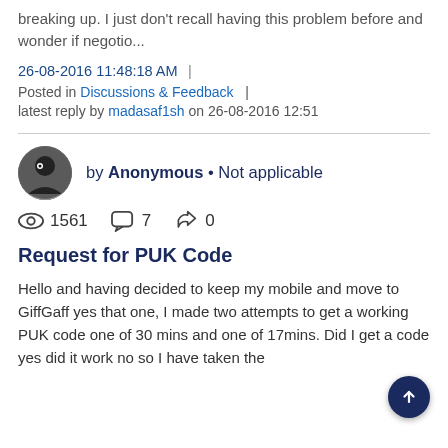breaking up. I just don't recall having this problem before and wonder if negotio...
26-08-2016 11:48:18 AM  |  Posted in Discussions & Feedback  |  latest reply by madasaf1sh on 26-08-2016 12:51
by Anonymous • Not applicable
1561 views  7 comments  0 kudos
Request for PUK Code
Hello and having decided to keep my mobile and move to GiffGaff yes that one, I made two attempts to get a working PUK code one of 30 mins and one of 17mins. Did I get a code yes did it work no so I have taken the